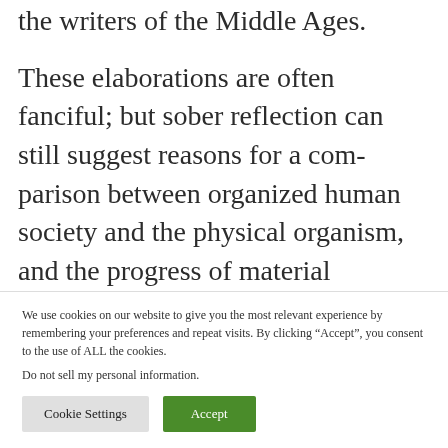the writers of the Middle Ages. These elaborations are often fanciful; but sober reflection can still suggest reasons for a comparison between organized human society and the physical organism, and the progress of material civilization would seem to be adding more and more cogency to those reasons. It may well be argued today that the development
We use cookies on our website to give you the most relevant experience by remembering your preferences and repeat visits. By clicking “Accept”, you consent to the use of ALL the cookies. Do not sell my personal information.